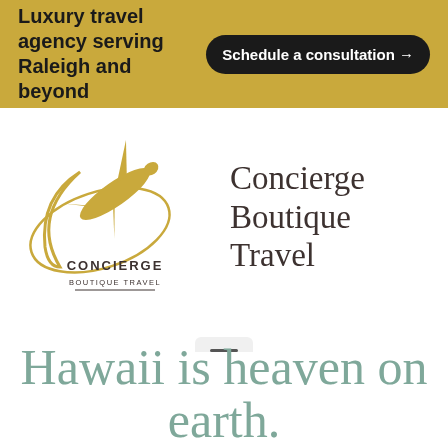Luxury travel agency serving Raleigh and beyond
Schedule a consultation →
[Figure (logo): Concierge Boutique Travel logo: gold airplane and crescent moon arc with text CONCIERGE BOUTIQUE TRAVEL]
Concierge Boutique Travel
[Figure (other): Hamburger menu icon (three horizontal lines) inside a light gray rounded rectangle button]
Hawaii is heaven on earth.